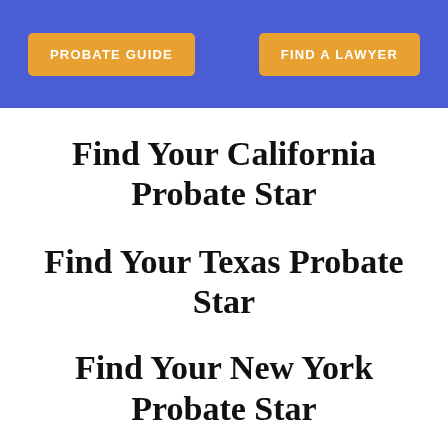PROBATE GUIDE   FIND A LAWYER
Find Your California Probate Star
Find Your Texas Probate Star
Find Your New York Probate Star
Find Your Ohio Probate